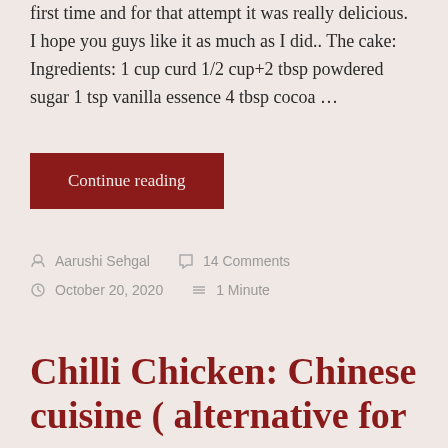first time and for that attempt it was really delicious. I hope you guys like it as much as I did.. The cake: Ingredients: 1 cup curd 1/2 cup+2 tbsp powdered sugar 1 tsp vanilla essence 4 tbsp cocoa …
Continue reading
By Aarushi Sehgal  💬 14 Comments  🕐 October 20, 2020  ≡ 1 Minute
Chilli Chicken: Chinese cuisine ( alternative for